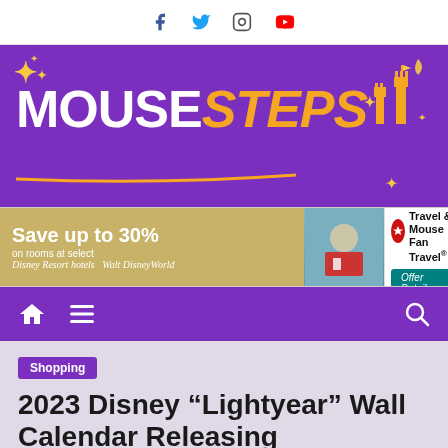Social media icons: Facebook, Twitter, Instagram, YouTube
[Figure (logo): MouseSteps logo on purple background with sparkle decorations and castle silhouette]
[Figure (infographic): Advertisement banner: Save up to 30% on rooms at select Disney Resort hotels - Walt Disney World - MEI Travel & Mouse Fan Travel - Offer Details]
[Figure (infographic): Purple navigation bar with home icon, hamburger menu icon, and search icon]
Shopping
2023 Disney “Lightyear” Wall Calendar Releasing